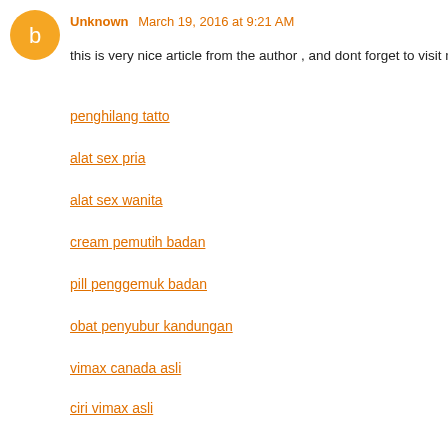Unknown  March 19, 2016 at 9:21 AM
this is very nice article from the author , and dont forget to visit m
penghilang tatto
alat sex pria
alat sex wanita
cream pemutih badan
pill penggemuk badan
obat penyubur kandungan
obat perapat vagina asli
alat pembesar payudara
aneka ring dan kondom
vimax canada asli
ciri vimax asli